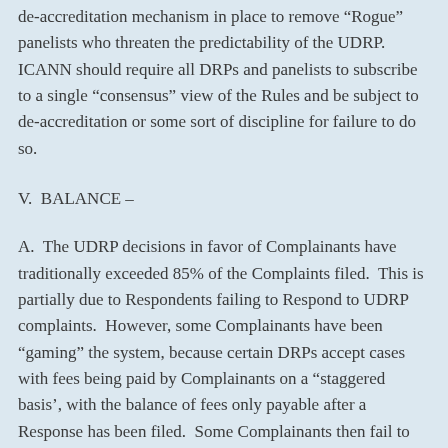de-accreditation mechanism in place to remove “Rogue” panelists who threaten the predictability of the UDRP.  ICANN should require all DRPs and panelists to subscribe to a single “consensus” view of the Rules and be subject to de-accreditation or some sort of discipline for failure to do so.
V.  BALANCE –
A.  The UDRP decisions in favor of Complainants have traditionally exceeded 85% of the Complaints filed.  This is partially due to Respondents failing to Respond to UDRP complaints.  However, some Complainants have been “gaming” the system, because certain DRPs accept cases with fees being paid by Complainants on a “staggered basis’, with the balance of fees only payable after a Response has been filed.  Some Complainants then fail to pay the 2nd installment after the Response has been filed, the Respondent had to